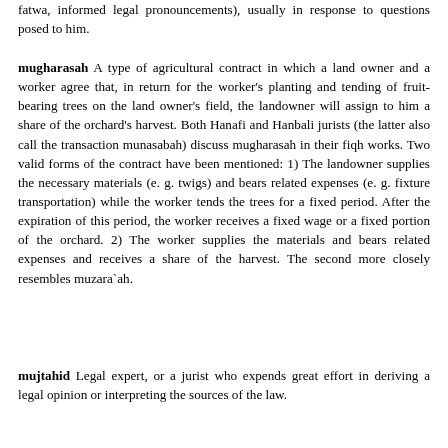fatwa, informed legal pronouncements), usually in response to questions posed to him.
mugharasah A type of agricultural contract in which a land owner and a worker agree that, in return for the worker's planting and tending of fruit-bearing trees on the land owner's field, the landowner will assign to him a share of the orchard's harvest. Both Hanafi and Hanbali jurists (the latter also call the transaction munasabah) discuss mugharasah in their fiqh works. Two valid forms of the contract have been mentioned: 1) The landowner supplies the necessary materials (e. g. twigs) and bears related expenses (e. g. fixture transportation) while the worker tends the trees for a fixed period. After the expiration of this period, the worker receives a fixed wage or a fixed portion of the orchard. 2) The worker supplies the materials and bears related expenses and receives a share of the harvest. The second more closely resembles muzara`ah.
mujtahid Legal expert, or a jurist who expends great effort in deriving a legal opinion or interpreting the sources of the law.